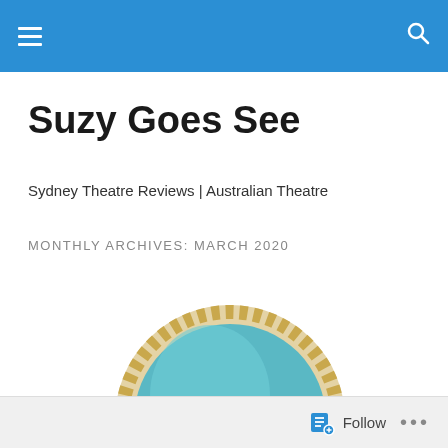Navigation bar with hamburger menu and search icon
Suzy Goes See
Sydney Theatre Reviews | Australian Theatre
MONTHLY ARCHIVES: MARCH 2020
[Figure (illustration): Illustrated portrait of a woman with long dark flowing hair wearing a pink face mask, shown inside a decorative circular frame with gold/tan scalloped border and teal/blue background]
Follow ...